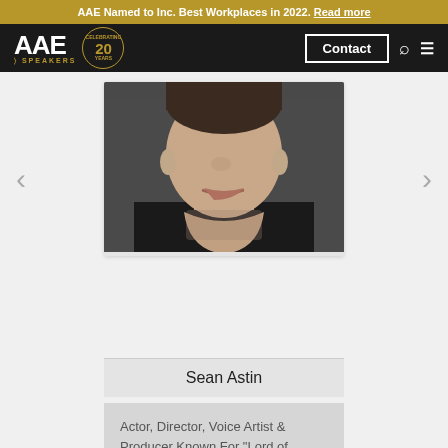AAE Named to Inc. Best Workplaces in 2022. Read more
[Figure (logo): AAE Speakers logo with 20 Years Celebrating badge in black navigation bar, with Contact button, search and menu icons]
[Figure (photo): Close-up portrait photo of Sean Astin, a man in a dark shirt, cropped at mouth/chin area, dark background]
Sean Astin
Actor, Director, Voice Artist & Producer Known For "Lord of...
View Profile
NEW! The 2022 Speaking Industry Benchmark Report
1.800.698.2536
CONTACT US